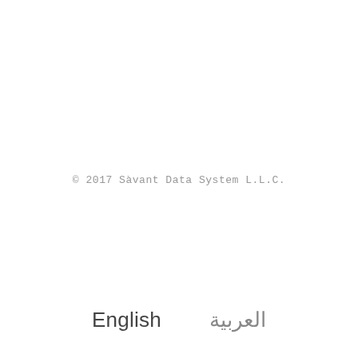© 2017 Sàvant Data System L.L.C.
English    العربية